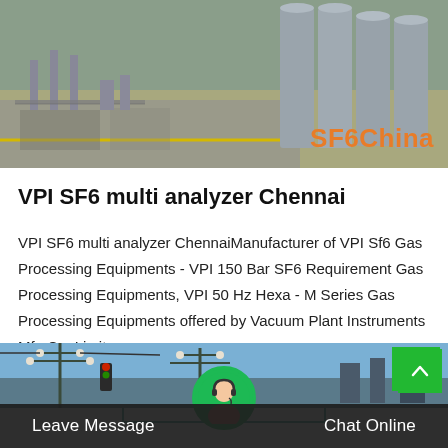[Figure (photo): Industrial gas cylinders/tanks with SF6China watermark text in orange]
VPI SF6 multi analyzer Chennai
VPI SF6 multi analyzer ChennaiManufacturer of VPI Sf6 Gas Processing Equipments - VPI 150 Bar SF6 Requirement Gas Processing Equipments, VPI 50 Hz Hexa - M Series Gas Processing Equipments offered by Vacuum Plant Instruments Mfg Co. Limit…
Get Price
[Figure (photo): Industrial electrical equipment/power lines against blue sky with Leave Message and Chat Online buttons at bottom]